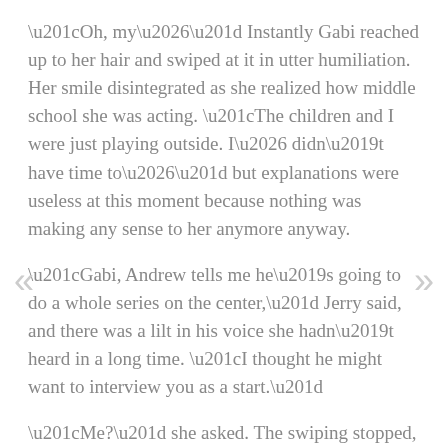“Oh, my…” Instantly Gabi reached up to her hair and swiped at it in utter humiliation. Her smile disintegrated as she realized how middle school she was acting. “The children and I were just playing outside. I… didn’t have time to…” but explanations were useless at this moment because nothing was making any sense to her anymore anyway.
“Gabi, Andrew tells me he’s going to do a whole series on the center,” Jerry said, and there was a lilt in his voice she hadn’t heard in a long time. “I thought he might want to interview you as a start.”
“Me?” she asked. The swiping stopped, and she looked at Jerry in surprised panic. “Why me?”